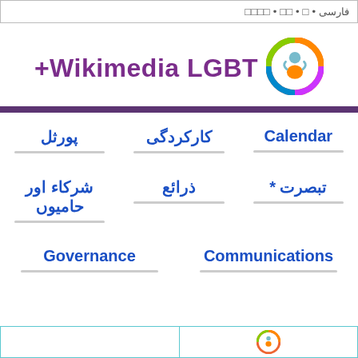فارسی • □ • □□ • □□□□
Wikimedia LGBT+
[Figure (logo): Wikimedia LGBT+ circular rainbow logo with person silhouette]
پورثل
کارکردگی
Calendar
شركاء اور حامیوں
ذرائع
تبصرت *
Communications
Governance